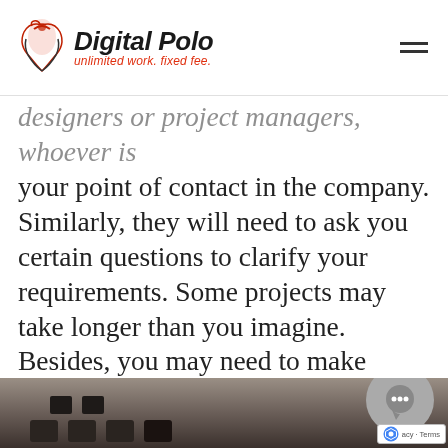Digital Polo — unlimited work. fixed fee.
designers or project managers, whoever is your point of contact in the company. Similarly, they will need to ask you certain questions to clarify your requirements. Some projects may take longer than you imagine. Besides, you may need to make changes in a design, update some information about the design details or may need to converse with the person of contact many a time every day. In that case, you would need to have proper customer support system.
[Figure (photo): Partial photo of a dark device (possibly keyboard or remote) on a surface, visible at bottom of page]